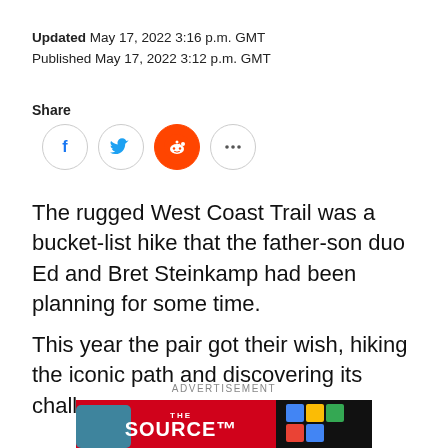Updated May 17, 2022 3:16 p.m. GMT
Published May 17, 2022 3:12 p.m. GMT
Share
[Figure (infographic): Social share buttons: Facebook, Twitter, Reddit, and more (ellipsis) circle icons]
The rugged West Coast Trail was a bucket-list hike that the father-son duo Ed and Bret Steinkamp had been planning for some time.
This year the pair got their wish, hiking the iconic path and discovering its challenges.
ADVERTISEMENT
[Figure (photo): Advertisement banner for The Source showing smartphones on a red background with text 'THE SOURCE' and 'Checkout']